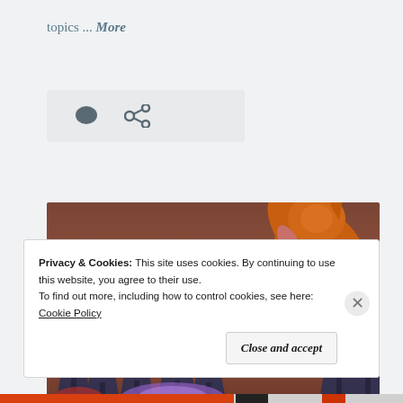topics ... More
[Figure (screenshot): Icon bar with comment bubble and share/link icons on a light gray background]
[Figure (photo): A 3D rendered game scene showing an orange fox-like character in a snowy winter forest with dark pine trees under a brownish-red sky, with a purple glowing element at the bottom]
Privacy & Cookies: This site uses cookies. By continuing to use this website, you agree to their use.
To find out more, including how to control cookies, see here: Cookie Policy
Close and accept